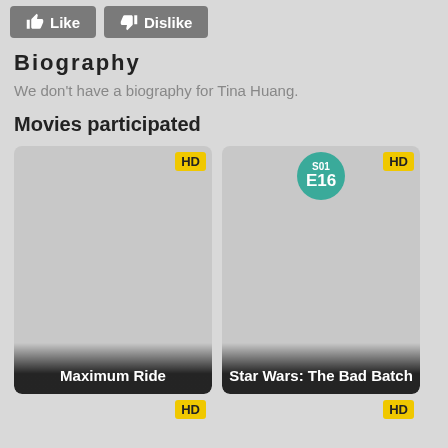[Figure (screenshot): Like and Dislike buttons at top of page]
Biography
We don't have a biography for Tina Huang.
Movies participated
[Figure (screenshot): Movie card for Maximum Ride with HD badge]
[Figure (screenshot): Movie card for Star Wars: The Bad Batch with HD badge and S01 E16 episode badge]
[Figure (screenshot): Bottom row of movie cards with HD badges]